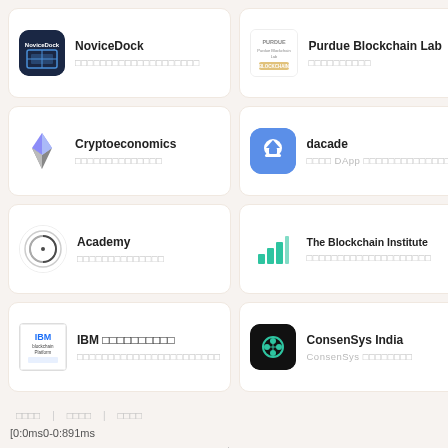[Figure (logo): NoviceDock logo - dark navy blue square]
NoviceDock
□□□□□□□□□□□□□□□□□□□□
[Figure (logo): Purdue Blockchain Lab logo]
Purdue Blockchain Lab
□□□□□□□□□□
[Figure (logo): Cryptoeconomics logo - Ethereum diamond shape]
Cryptoeconomics
□□□□□□□□□□□□□□
[Figure (logo): dacade logo - blue square with graduation cap]
dacade
□□□□ DApp □□□□□□□□□□□□□□□
[Figure (logo): Academy logo - circular Arcana symbol]
Academy
□□□□□□□□□□□□□□
[Figure (logo): The Blockchain Institute logo - teal bar chart]
The Blockchain Institute
□□□□□□□□□□□□□□□□□□□□
[Figure (logo): IBM Blockchain Platform logo]
IBM □□□□□□□□□□
□□□□□□□□□□□□□□□□□□□□□□□
[Figure (logo): ConsenSys India logo - dark square with teal icon]
ConsenSys India
ConsenSys □□□□□□□□
□□□□ | □□□□ | □□□□
[0:0ms0-0:891ms
□□□□□□□□□□□□□□□□□□□□□□□□□□□□□□□□□□okex□□□□□□□□□□□□□□□□□□□□□□□□□□□□□□□□□□okex□□□□□□□□□□□□□□□□□□□□□□□□□□□□□□□□□□□□□□□□□□□□
© 2020 jdfi.com □□□□ □ICP□17028915□